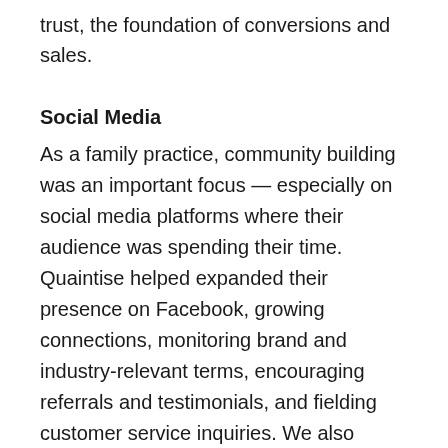trust, the foundation of conversions and sales.
Social Media
As a family practice, community building was an important focus — especially on social media platforms where their audience was spending their time. Quaintise helped expanded their presence on Facebook, growing connections, monitoring brand and industry-relevant terms, encouraging referrals and testimonials, and fielding customer service inquiries. We also launched the FPS YouTube channel to host the testimonial videos we created, which would be indexed by search engines and